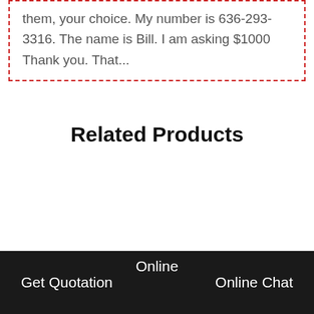them, your choice. My number is 636-293-3316. The name is Bill. I am asking $1000 Thank you. That...
Related Products
[Figure (other): Broken image placeholder icon]
Get Quotation   Online   Online Chat